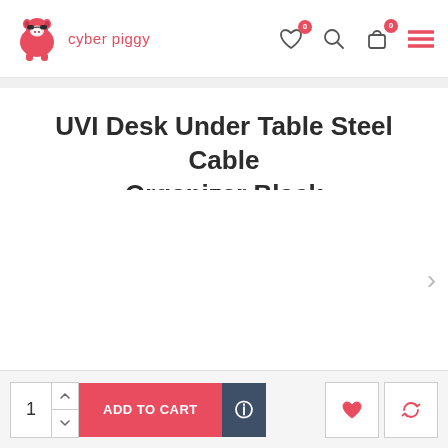cyber piggy
UVI Desk Under Table Steel Cable Organizer Black
[Figure (other): Product image area (empty/white background) for UVI Desk Under Table Steel Cable Organizer Black]
ADD TO CART